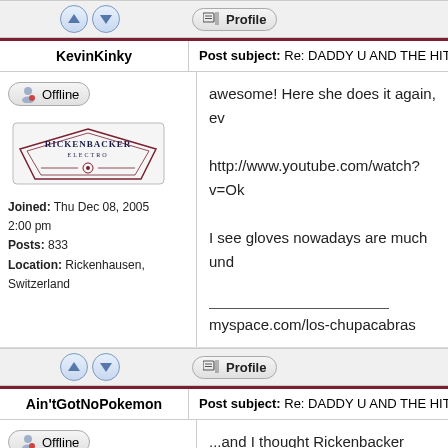[Figure (screenshot): Forum vote/profile bar with up/down arrows and Profile button]
KevinKinky
Post subject: Re: DADDY U AND THE HITKIDS
[Figure (screenshot): Offline badge with user icon]
[Figure (logo): Rickenbacker Electro logo]
Joined: Thu Dec 08, 2005 2:00 pm
Posts: 833
Location: Rickenhausen, Switzerland
awesome! Here she does it again, ev
http://www.youtube.com/watch?v=Ok
I see gloves nowadays are much und
___________________
myspace.com/los-chupacabras
[Figure (screenshot): Forum vote/profile bar with up/down arrows and Profile button]
Ain'tGotNoPokemon
Post subject: Re: DADDY U AND THE HITKIDS
[Figure (screenshot): Offline badge with user icon]
[Figure (illustration): Golden guitar avatar]
Joined: Sat Sep 17, 2011 6:10 pm
Posts: 782
...and I thought Rickenbacker players